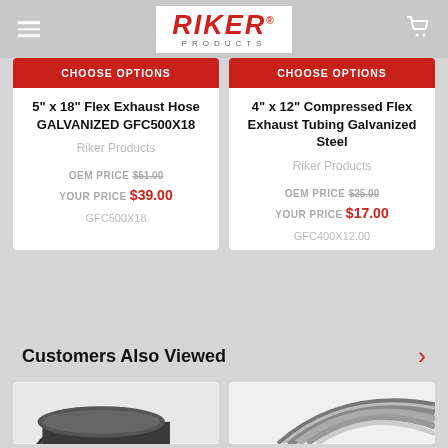RIKER PRODUCTS
CHOOSE OPTIONS
5" x 18" Flex Exhaust Hose GALVANIZED GFC500X18
Riker Products
OEM PRICE $51.00 YOUR PRICE $39.00
GFC500X18
CHOOSE OPTIONS
4" x 12" Compressed Flex Exhaust Tubing Galvanized Steel
Riker Products
OEM PRICE $25.00 YOUR PRICE $17.00
GFC400X12.00
Customers Also Viewed
[Figure (photo): Partial view of a flex exhaust hose product image]
[Figure (photo): Partial view of a flex exhaust tubing product image]